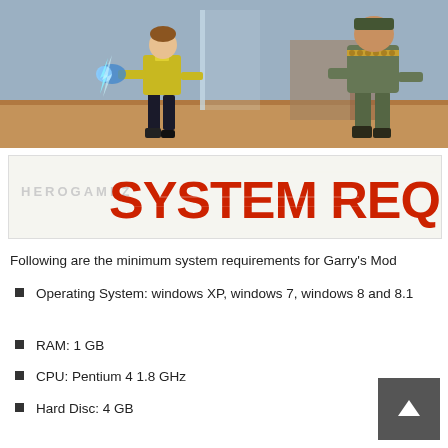[Figure (screenshot): Game screenshot showing two characters fighting — one in a yellow jacket firing a glowing weapon, and one large heavily-armored character — set in an industrial environment]
[Figure (other): System Requirements banner with red distressed block text reading 'SYSTEM REQUI.' on a light background, with HEROGAMEZ watermark]
Following are the minimum system requirements for Garry's Mod
Operating System: windows XP, windows 7, windows 8 and 8.1
RAM: 1 GB
CPU: Pentium 4 1.8 GHz
Hard Disc: 4 GB